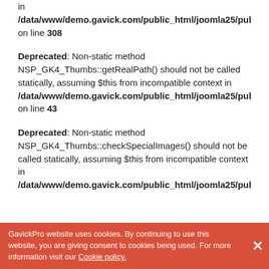in /data/www/demo.gavick.com/public_html/joomla25/publisher/modules/mod_news_pro_gk4/tmpl/layout.parts.php on line 308
Deprecated: Non-static method NSP_GK4_Thumbs::getRealPath() should not be called statically, assuming $this from incompatible context in /data/www/demo.gavick.com/public_html/joomla25/publisher/modules/mod_news_pro_gk4/gk_classes/gk.thumbs.php on line 43
Deprecated: Non-static method NSP_GK4_Thumbs::checkSpecialImages() should not be called statically, assuming $this from incompatible context in /data/www/demo.gavick.com/public_html/joomla25/publisher/modules/mod_news_pro_gk4/gk_classes/gk.thu...
GavickPro website uses cookies. By continuing to use this website, you are giving consent to cookies being used. For more information visit our Cookie policy.